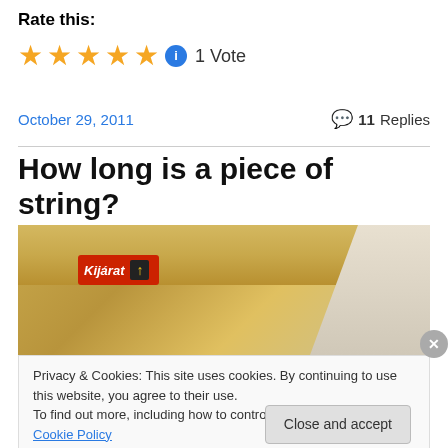Rate this:
[Figure (other): Five gold stars rating widget with info icon showing 1 Vote]
October 29, 2011    💬 11 Replies
How long is a piece of string?
[Figure (photo): Photo of a tunnel interior with a red 'Kijárat' (Exit) sign with yellow arrow pointing up]
Privacy & Cookies: This site uses cookies. By continuing to use this website, you agree to their use. To find out more, including how to control cookies, see here: Cookie Policy